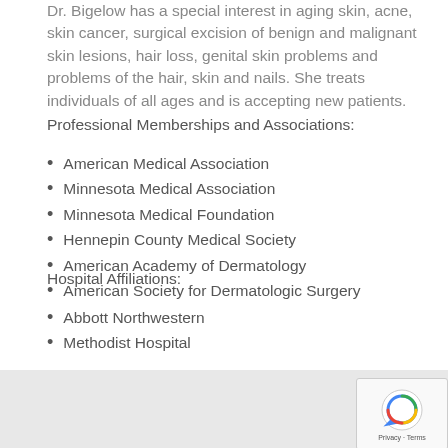Dr. Bigelow has a special interest in aging skin, acne, skin cancer, surgical excision of benign and malignant skin lesions, hair loss, genital skin problems and problems of the hair, skin and nails. She treats individuals of all ages and is accepting new patients.
Professional Memberships and Associations:
American Medical Association
Minnesota Medical Association
Minnesota Medical Foundation
Hennepin County Medical Society
American Academy of Dermatology
American Society for Dermatologic Surgery
Hospital Affiliations:
Abbott Northwestern
Methodist Hospital
Contact